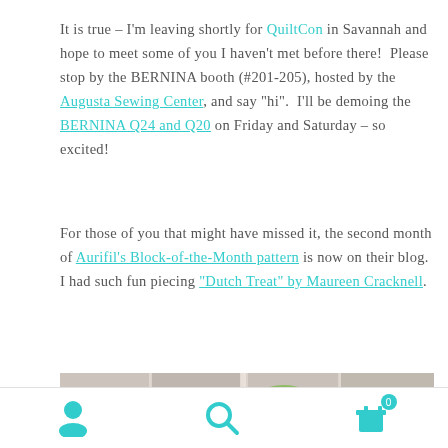It is true – I'm leaving shortly for QuiltCon in Savannah and hope to meet some of you I haven't met before there!  Please stop by the BERNINA booth (#201-205), hosted by the Augusta Sewing Center, and say "hi".  I'll be demoing the BERNINA Q24 and Q20 on Friday and Saturday – so excited!
For those of you that might have missed it, the second month of Aurifil's Block-of-the-Month pattern is now on their blog.  I had such fun piecing "Dutch Treat" by Maureen Cracknell.
[Figure (photo): A horizontal strip photo showing quilt fabric blocks with red, green, teal, and white patterned fabric pieces arranged side by side.]